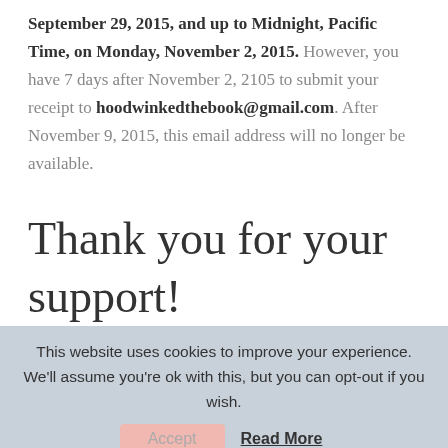September 29, 2015, and up to Midnight, Pacific Time, on Monday, November 2, 2015. However, you have 7 days after November 2, 2105 to submit your receipt to hoodwinkedthebook@gmail.com. After November 9, 2015, this email address will no longer be available.
Thank you for your support!
This website uses cookies to improve your experience. We'll assume you're ok with this, but you can opt-out if you wish.